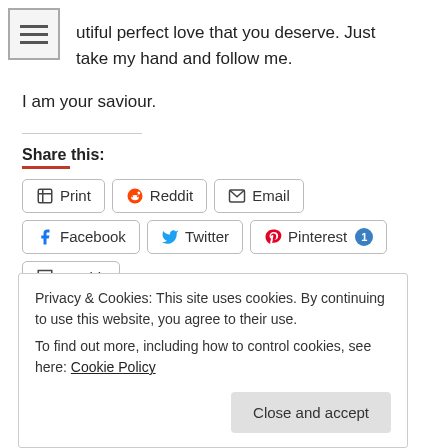…utiful perfect love that you deserve. Just take my hand and follow me.
I am your saviour.
Share this:
Print | Reddit | Email | Facebook | Twitter | Pinterest 1 | Tumblr
Like this:
Like
Privacy & Cookies: This site uses cookies. By continuing to use this website, you agree to their use.
To find out more, including how to control cookies, see here: Cookie Policy
Close and accept